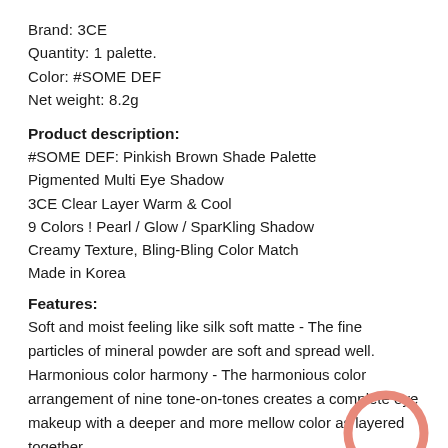Brand: 3CE
Quantity: 1 palette.
Color: #SOME DEF
Net weight: 8.2g
Product description:
#SOME DEF: Pinkish Brown Shade Palette
Pigmented Multi Eye Shadow
3CE Clear Layer Warm & Cool
9 Colors ! Pearl / Glow / SparKling Shadow
Creamy Texture, Bling-Bling Color Match
Made in Korea
Features:
Soft and moist feeling like silk soft matte - The fine particles of mineral powder are soft and spread well. Harmonious color harmony - The harmonious color arrangement of nine tone-on-tones creates a complete eye makeup with a deeper and more mellow color as layered together.
Clear and clear transparent color - It removes the